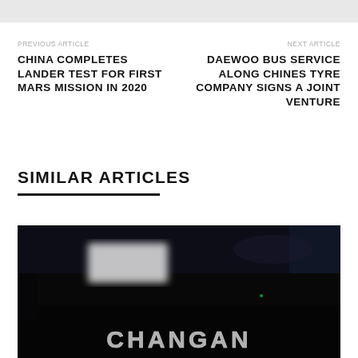[Figure (other): Gray top bar / header image strip]
PREVIOUS ARTICLE
CHINA COMPLETES LANDER TEST FOR FIRST MARS MISSION IN 2020
NEXT ARTICLE
DAEWOO BUS SERVICE ALONG CHINES TYRE COMPANY SIGNS A JOINT VENTURE
SIMILAR ARTICLES
[Figure (photo): Close-up dark photo of a Changan car hood/badge with CHANGAN text in chrome letters on a glossy black surface, with a blurred white rectangle reflection visible]